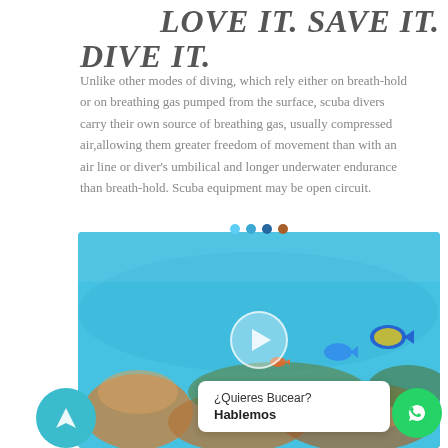LOVE IT. SAVE IT. DIVE IT.
Unlike other modes of diving, which rely either on breath-hold or on breathing gas pumped from the surface, scuba divers carry their own source of breathing gas, usually compressed air,allowing them greater freedom of movement than with an air line or diver's umbilical and longer underwater endurance than breath-hold. Scuba equipment may be open circuit.
[Figure (photo): Underwater coral reef scene with tropical fish and a video play button overlay, plus navigation dots and a WhatsApp chat bubble overlay reading ¿Quieres Bucear? Hablemos]